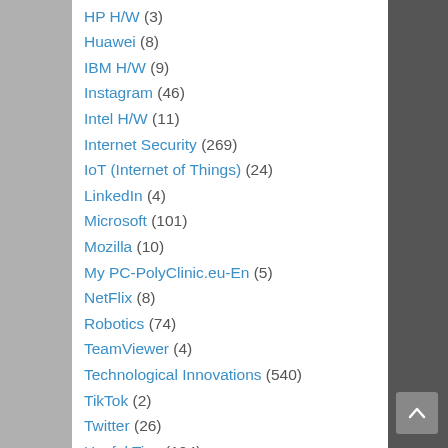HP H/W (3)
Huawei (8)
IBM H/W (9)
Instagram (46)
Intel H/W (11)
Internet Security (269)
IoT (Internet of Things) (24)
LinkedIn (4)
Microsoft (101)
Mozilla (10)
My PC-PolyClinic.eu-En (5)
NetFlix (8)
Robotics (74)
TeamViewer (4)
Technological Innovations (540)
TikTok (2)
Twitter (26)
Useful Tips (194)
Viber (16)
VR (Virtual Reality) (14)
WhatsApp (5)
Wi-Fi (24)